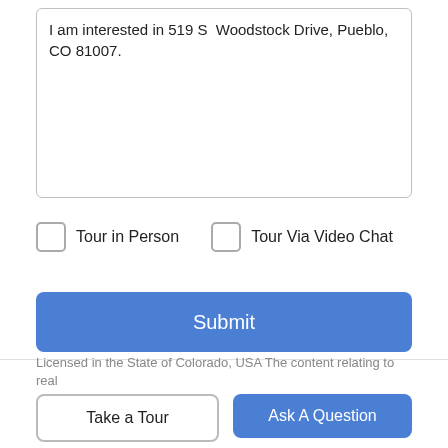I am interested in 519 S  Woodstock Drive, Pueblo, CO 81007.
Tour in Person
Tour Via Video Chat
Submit
Disclaimer: By entering your information and submitting this form, you agree to our Terms of Use and Privacy Policy and that you may be contacted by phone, text message and email about your inquiry.
Licensed in the State of Colorado, USA The content relating to real
Take a Tour
Ask A Question